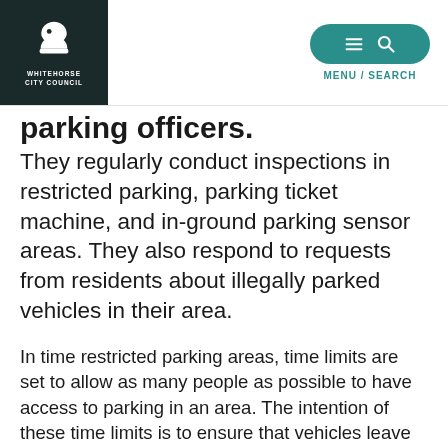WHITEHORSE CITY COUNCIL | MENU / SEARCH
parking officers.
They regularly conduct inspections in restricted parking, parking ticket machine, and in-ground parking sensor areas. They also respond to requests from residents about illegally parked vehicles in their area.
In time restricted parking areas, time limits are set to allow as many people as possible to have access to parking in an area. The intention of these time limits is to ensure that vehicles leave the area after the initial time has expired